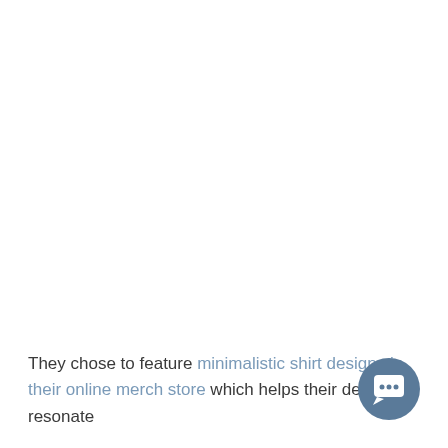They chose to feature minimalistic shirt designs in their online merch store which helps their designs resonate
[Figure (illustration): A circular chat/support button with a speech bubble icon, dark steel-blue background, positioned in the bottom-right corner.]